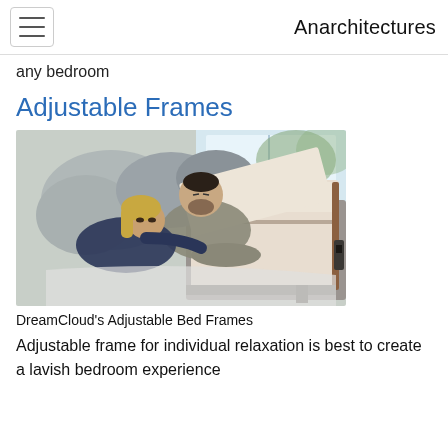Anarchitectures
any bedroom
Adjustable Frames
[Figure (photo): A couple reclining on a DreamCloud adjustable bed frame with pillows, woman in dark top leaning on man in grey, mattress visible on right side]
DreamCloud's Adjustable Bed Frames
Adjustable frame for individual relaxation is best to create a lavish bedroom experience